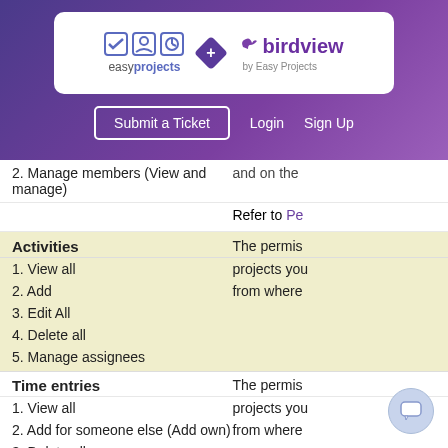[Figure (logo): Easy Projects and Birdview by Easy Projects logos with navigation bar showing Submit a Ticket, Login, Sign Up buttons on a purple gradient background]
2. Manage members (View and manage)
and on the
Refer to Pe
Activities
The permis
1. View all
projects you
2. Add
from where
3. Edit All
4. Delete all
5. Manage assignees
Time entries
The permis
1. View all
projects you
2. Add for someone else (Add own)
from where
3. Delete all
Members and assignees
The permis